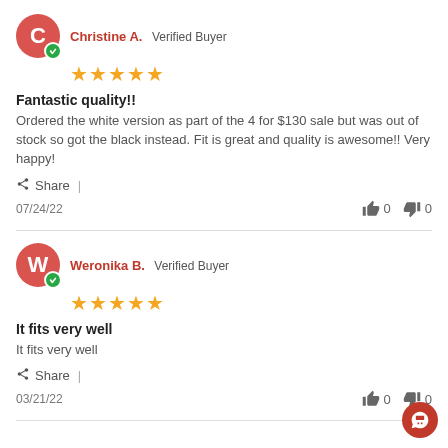Christine A. Verified Buyer
[Figure (other): 5 star rating]
Fantastic quality!!
Ordered the white version as part of the 4 for $130 sale but was out of stock so got the black instead. Fit is great and quality is awesome!! Very happy!
Share |
07/24/22   0   0
Weronika B. Verified Buyer
[Figure (other): 5 star rating]
It fits very well
It fits very well
Share |
03/21/22   0   0